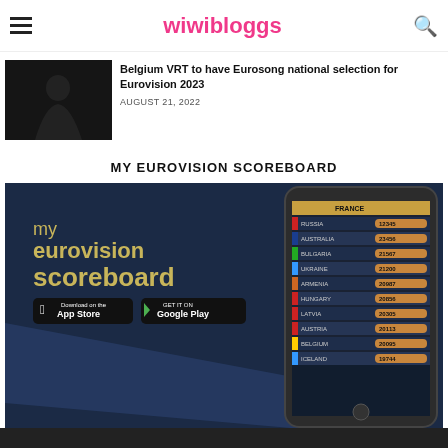wiwibloggs
Belgium VRT to have Eurosong national selection for Eurovision 2023
AUGUST 21, 2022
MY EUROVISION SCOREBOARD
[Figure (screenshot): My Eurovision Scoreboard app promotional image showing a smartphone with a scoreboard app displaying countries (France, Russia, Australia, Bulgaria, Ukraine, Armenia, Hungary, Latvia, Austria, Belgium, Iceland) and scores. App Store and Google Play download badges shown. Text reads 'my eurovision scoreboard'.]